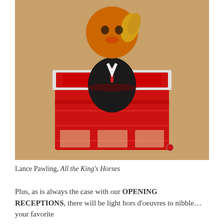[Figure (photo): A jack-in-the-box toy photographed from above, showing a character with orange/brown fuzzy head and blonde hair popping out of a red box, wearing a dark suit with a red tie. The box is red with decorative imagery on its sides. The scene is set against a warm brown background.]
Lance Pawling, All the King's Horses
Plus, as is always the case with our OPENING RECEPTIONS, there will be light hors d'oeuvres to nibble...your favorite